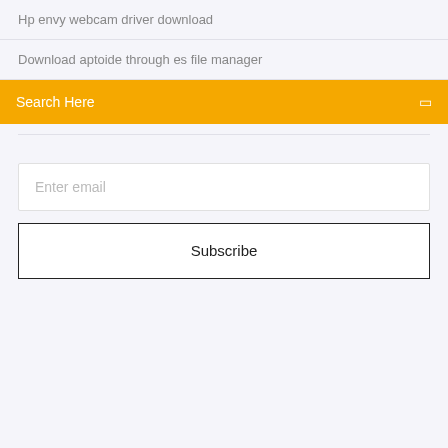Hp envy webcam driver download
Download aptoide through es file manager
Search Here
Enter email
Subscribe